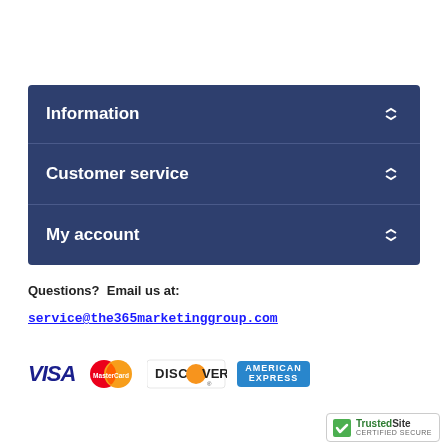Information
Customer service
My account
Questions?  Email us at:
service@the365marketinggroup.com
[Figure (logo): Payment method logos: VISA, MasterCard, Discover, American Express]
[Figure (logo): TrustedSite Certified Secure badge]